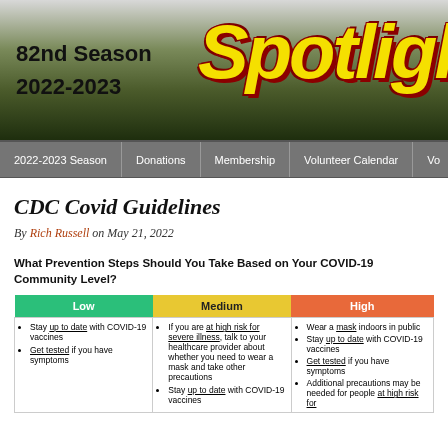82nd Season 2022-2023 Spotlight
2022-2023 Season | Donations | Membership | Volunteer Calendar | Vo...
CDC Covid Guidelines
By Rich Russell on May 21, 2022
What Prevention Steps Should You Take Based on Your COVID-19 Community Level?
| Low | Medium | High |
| --- | --- | --- |
| Stay up to date with COVID-19 vaccines
Get tested if you have symptoms | If you are at high risk for severe illness, talk to your healthcare provider about whether you need to wear a mask and take other precautions
Stay up to date with COVID-19 vaccines | Wear a mask indoors in public
Stay up to date with COVID-19 vaccines
Get tested if you have symptoms
Additional precautions may be needed for people at high risk for... |